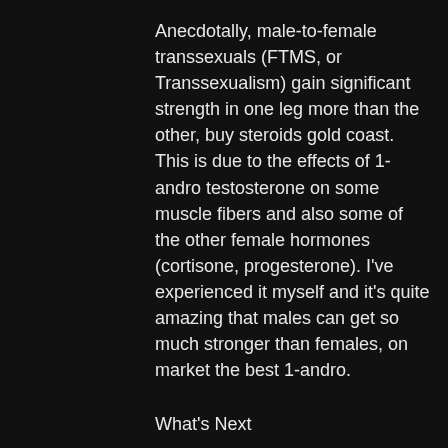Anecdotally, male-to-female transsexuals (FTMS, or Transsexualism) gain significant strength in one leg more than the other, buy steroids gold coast. This is due to the effects of 1-andro testosterone on some muscle fibers and also some of the other female hormones (cortisone, progesterone). I've experienced it myself and it's quite amazing that males can get so much stronger than females, on market the best 1-andro.
What's Next
I recently started writing about transdermal testosterone and I want to share with you some of the research that supports this theory. We talk about this on our YouTube channel, which is quite popular these days. We also write about this in our book, best 1-andro on the market.